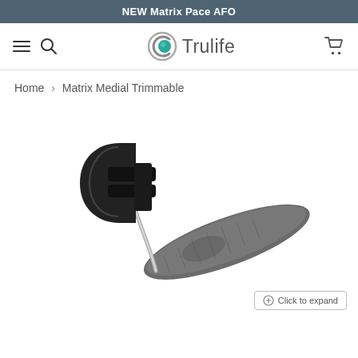NEW Matrix Pace AFO
[Figure (screenshot): Trulife website navigation header with hamburger menu, search icon, Trulife logo, and cart icon]
Home > Matrix Medial Trimmable
[Figure (photo): Matrix Medial Trimmable AFO (Ankle Foot Orthosis) product photo showing a black calf cuff with strap attached to a grey foot plate via a metal upright]
Click to expand